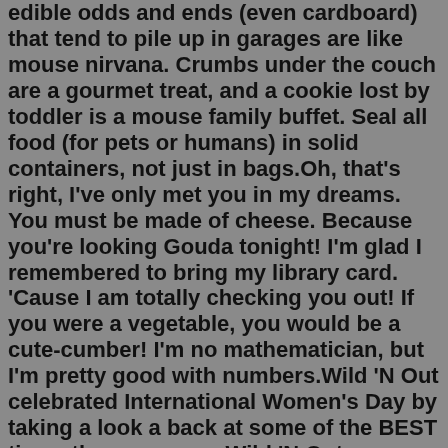edible odds and ends (even cardboard) that tend to pile up in garages are like mouse nirvana. Crumbs under the couch are a gourmet treat, and a cookie lost by toddler is a mouse family buffet. Seal all food (for pets or humans) in solid containers, not just in bags.Oh, that's right, I've only met you in my dreams. You must be made of cheese. Because you're looking Gouda tonight! I'm glad I remembered to bring my library card. 'Cause I am totally checking you out! If you were a vegetable, you would be a cute-cumber! I'm no mathematician, but I'm pretty good with numbers.Wild 'N Out celebrated International Women's Day by taking a look a back at some of the BEST times the women on Wild 'N Out were able to hold their own and p... works well in a bar/pub setting. "you see my friend over there? he wants to know if you think im cute". 1.6k. level 2. · 4 yr. ago. before I got married, I used a similar one, "hey my buddies over there point at friends think you are cute but for some reason none has the guts to tell you." This is both a funny & cheesy tinder pick up line. 4.